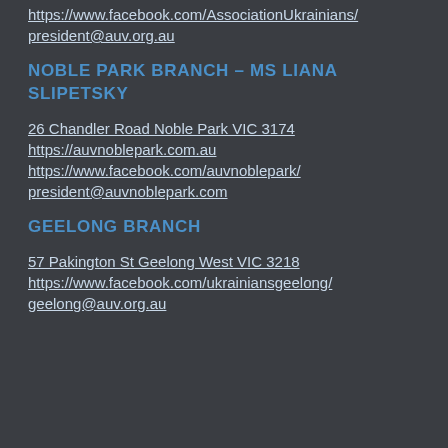https://www.facebook.com/AssociationUkrainians/
president@auv.org.au
NOBLE PARK BRANCH – MS LIANA SLIPETSKY
26 Chandler Road Noble Park VIC 3174
https://auvnoblepark.com.au
https://www.facebook.com/auvnoblepark/
president@auvnoblepark.com
GEELONG BRANCH
57 Pakington St Geelong West VIC 3218
https://www.facebook.com/ukrainiansgeelong/
geelong@auv.org.au